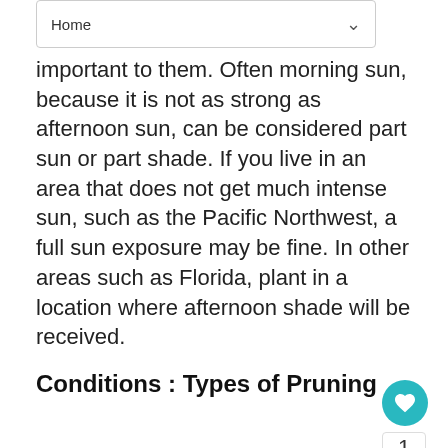Home
important to them. Often morning sun, because it is not as strong as afternoon sun, can be considered part sun or part shade. If you live in an area that does not get much intense sun, such as the Pacific Northwest, a full sun exposure may be fine. In other areas such as Florida, plant in a location where afternoon shade will be received.
Conditions : Types of Pruning
Types of pruning include: pinching, thinning, shearing and rejuvenating.
Pinching is removing the stem tips of a young plant to promote branching. Doing this outside...